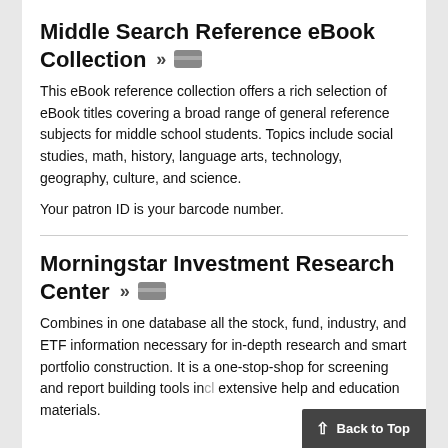Middle Search Reference eBook Collection »
This eBook reference collection offers a rich selection of eBook titles covering a broad range of general reference subjects for middle school students. Topics include social studies, math, history, language arts, technology, geography, culture, and science.
Your patron ID is your barcode number.
Morningstar Investment Research Center »
Combines in one database all the stock, fund, industry, and ETF information necessary for in-depth research and smart portfolio construction. It is a one-stop-shop for screening and report building tools including extensive help and education materials.